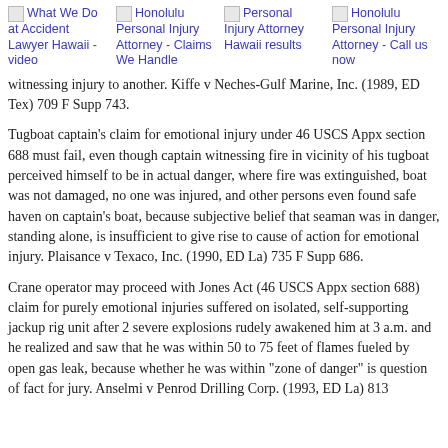What We Do at Accident Lawyer Hawaii - video | Honolulu Personal Injury Attorney - Claims We Handle | Personal Injury Attorney Hawaii results | Honolulu Personal Injury Attorney - Call us now
witnessing injury to another. Kiffe v Neches-Gulf Marine, Inc. (1989, ED Tex) 709 F Supp 743.
Tugboat captain's claim for emotional injury under 46 USCS Appx section 688 must fail, even though captain witnessing fire in vicinity of his tugboat perceived himself to be in actual danger, where fire was extinguished, boat was not damaged, no one was injured, and other persons even found safe haven on captain's boat, because subjective belief that seaman was in danger, standing alone, is insufficient to give rise to cause of action for emotional injury. Plaisance v Texaco, Inc. (1990, ED La) 735 F Supp 686.
Crane operator may proceed with Jones Act (46 USCS Appx section 688) claim for purely emotional injuries suffered on isolated, self-supporting jackup rig unit after 2 severe explosions rudely awakened him at 3 a.m. and he realized and saw that he was within 50 to 75 feet of flames fueled by open gas leak, because whether he was within "zone of danger" is question of fact for jury. Anselmi v Penrod Drilling Corp. (1993, ED La) 813